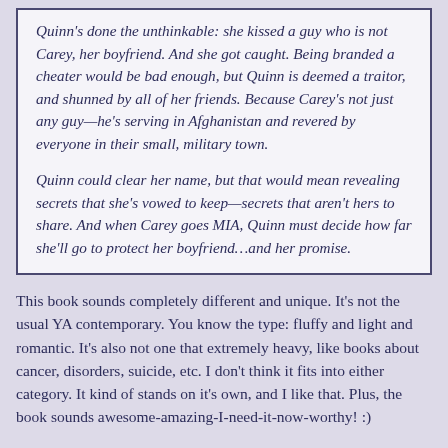Quinn's done the unthinkable: she kissed a guy who is not Carey, her boyfriend. And she got caught. Being branded a cheater would be bad enough, but Quinn is deemed a traitor, and shunned by all of her friends. Because Carey's not just any guy—he's serving in Afghanistan and revered by everyone in their small, military town.

Quinn could clear her name, but that would mean revealing secrets that she's vowed to keep—secrets that aren't hers to share. And when Carey goes MIA, Quinn must decide how far she'll go to protect her boyfriend…and her promise.
This book sounds completely different and unique. It's not the usual YA contemporary. You know the type: fluffy and light and romantic. It's also not one that extremely heavy, like books about cancer, disorders, suicide, etc. I don't think it fits into either category. It kind of stands on it's own, and I like that. Plus, the book sounds awesome-amazing-I-need-it-now-worthy! :)